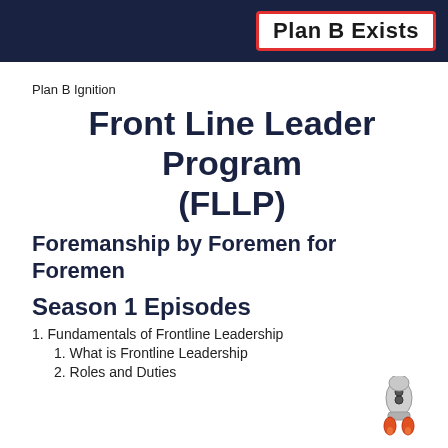[Figure (logo): Dark navy header bar with 'Plan B Exists' text in a red-bordered white box on the right side]
Plan B Ignition
Front Line Leader Program (FLLP)
Foremanship by Foremen for Foremen
Season 1 Episodes
1. Fundamentals of Frontline Leadership
1. What is Frontline Leadership
2. Roles and Duties
[Figure (illustration): Small cartoon rocket/spacecraft icon at bottom right]